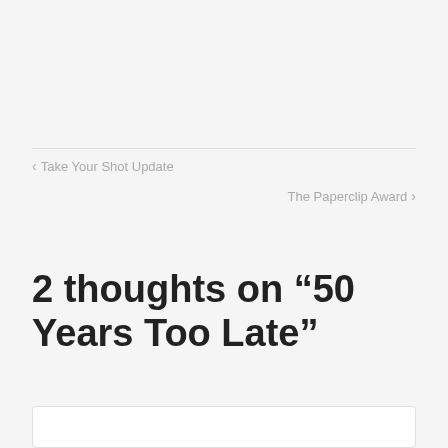‹ Take Your Shot Update
The Paperclip Award ›
2 thoughts on “50 Years Too Late”
Bea